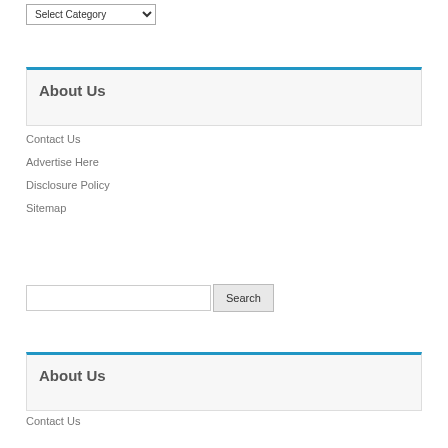[Figure (screenshot): Dropdown select element labeled 'Select Category' with a down arrow]
About Us
Contact Us
Advertise Here
Disclosure Policy
Sitemap
[Figure (screenshot): Search input field with a Search button]
About Us
Contact Us